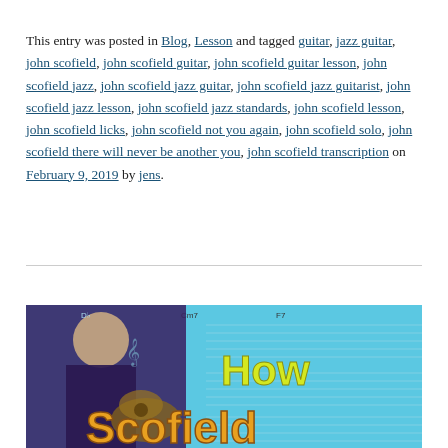This entry was posted in Blog, Lesson and tagged guitar, jazz guitar, john scofield, john scofield guitar, john scofield guitar lesson, john scofield jazz, john scofield jazz guitar, john scofield jazz guitarist, john scofield jazz lesson, john scofield jazz standards, john scofield lesson, john scofield licks, john scofield not you again, john scofield solo, john scofield there will never be another you, john scofield transcription on February 9, 2019 by jens.
[Figure (photo): Thumbnail image for a John Scofield guitar lesson video showing John Scofield playing guitar with sheet music in the background and large yellow text reading 'How Scofield' on a light blue background]